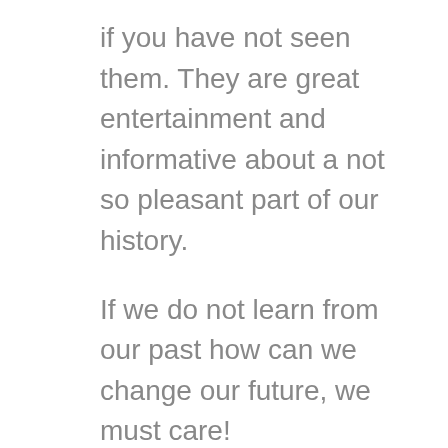if you have not seen them. They are great entertainment and informative about a not so pleasant part of our history.
If we do not learn from our past how can we change our future, we must care!
In conclusion, I know “Georgina” is different from these masterpieces. It does not contain concentration camps and true horror. It is a woman in the nineteen forties daring to defy the system of her times.